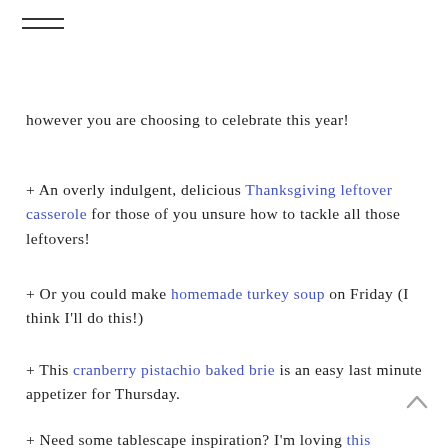≡ (hamburger menu icon)
however you are choosing to celebrate this year!
+ An overly indulgent, delicious Thanksgiving leftover casserole for those of you unsure how to tackle all those leftovers!
+ Or you could make homemade turkey soup on Friday (I think I'll do this!)
+ This cranberry pistachio baked brie is an easy last minute appetizer for Thursday.
+ Need some tablescape inspiration? I'm loving this neutral setup, the pomegranate color scheme